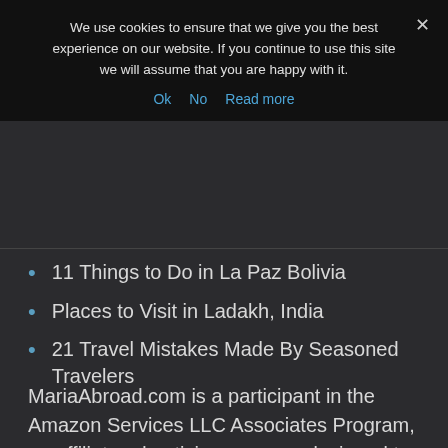We use cookies to ensure that we give you the best experience on our website. If you continue to use this site we will assume that you are happy with it.
Ok  No  Read more
11 Things to Do in La Paz Bolivia
Places to Visit in Ladakh, India
21 Travel Mistakes Made By Seasoned Travelers
MariaAbroad.com is a participant in the Amazon Services LLC Associates Program, an affiliate advertising program designed to provide a means for sites to earn advertising fees by advertising and linking to